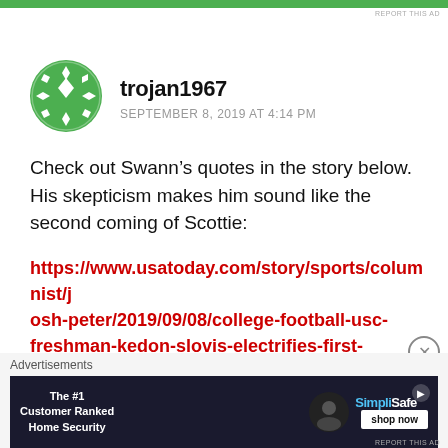REPORT THIS AD
[Figure (illustration): Green geometric floral avatar icon for user trojan1967]
trojan1967
SEPTEMBER 8, 2019 AT 4:14 PM
Check out Swann’s quotes in the story below. His skepticism makes him sound like the second coming of Scottie:
https://www.usatoday.com/story/sports/columnist/josh-peter/2019/09/08/college-football-usc-freshman-kedon-slovis-electrifies-first-start/2254794001/
Advertisements
[Figure (screenshot): Advertisement: SimpliSafe home security - The #1 Customer Ranked Home Security, with shop now button]